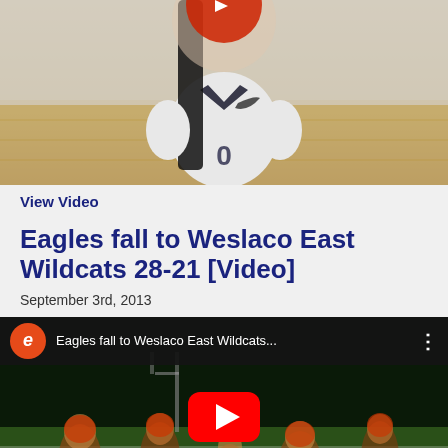[Figure (photo): Volleyball player wearing white Nike jersey with number 0, sitting in a gym with wooden floor background. Face area has a red circle/play button overlay at the top.]
View Video
Eagles fall to Weslaco East Wildcats 28-21 [Video]
September 3rd, 2013
[Figure (screenshot): YouTube video embed showing football players on a field at night. Header shows orange 'e' circle icon and title 'Eagles fall to Weslaco East Wildcats...' with a red YouTube play button in the center.]